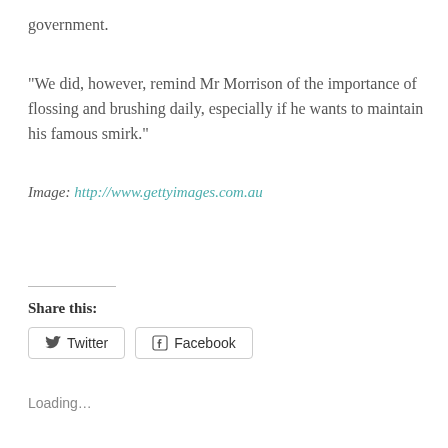government.
"We did, however, remind Mr Morrison of the importance of flossing and brushing daily, especially if he wants to maintain his famous smirk."
Image: http://www.gettyimages.com.au
Share this:
Twitter
Facebook
Loading...